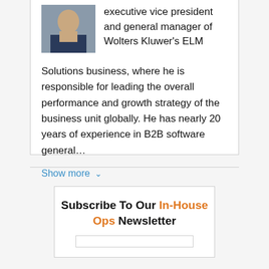[Figure (photo): Headshot photo of a man in a suit and tie]
executive vice president and general manager of Wolters Kluwer's ELM Solutions business, where he is responsible for leading the overall performance and growth strategy of the business unit globally. He has nearly 20 years of experience in B2B software general…
Show more ∨
Subscribe To Our In-House Ops Newsletter